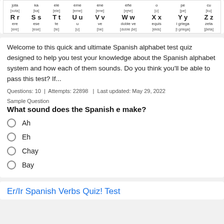| R r | S s | T t | U u | V v | W w | X x | Y y | Z z |
| ere | ese | te | u | ve | doble ve | equis | i griega | zeta |
| [ere] | [ese] | [te] | [u] | [be] | [doble βe] | [ekis] | [i griega] | [βeta] |
Welcome to this quick and ultimate Spanish alphabet test quiz designed to help you test your knowledge about the Spanish alphabet system and how each of them sounds. Do you think you'll be able to pass this test? If...
Questions: 10  |  Attempts: 22898  |  Last updated: May 29, 2022
Sample Question
What sound does the Spanish e make?
Ah
Eh
Chay
Bay
Er/Ir Spanish Verbs Quiz! Test